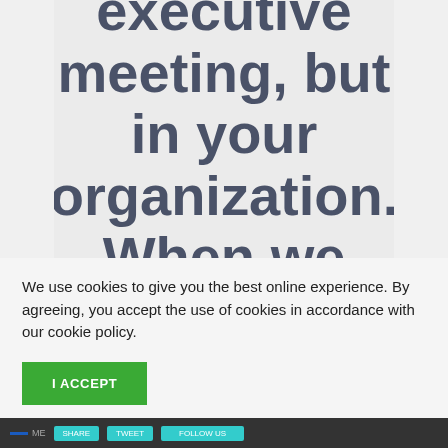executive meeting, but in your organization. When we look
We use cookies to give you the best online experience. By agreeing, you accept the use of cookies in accordance with our cookie policy.
I ACCEPT
Privacy Center   Cookie Policy